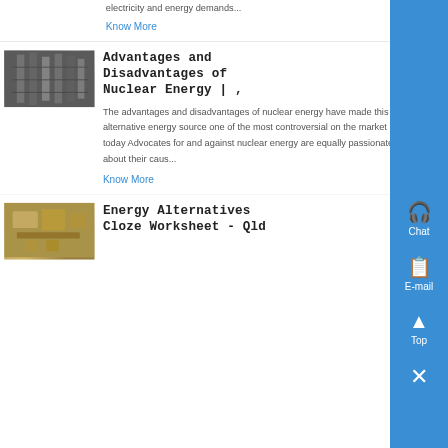electricity and energy demands...
Know More
[Figure (photo): Industrial/nuclear facility interior with metal scaffolding and structures]
Advantages and Disadvantages of Nuclear Energy | ,
The advantages and disadvantages of nuclear energy have made this alternative energy source one of the most controversial on the market today Advocates for and against nuclear energy are equally passionate about their caus...
Know More
[Figure (photo): Energy-related machinery or equipment with yellow/golden components]
Energy Alternatives Cloze Worksheet - Qld